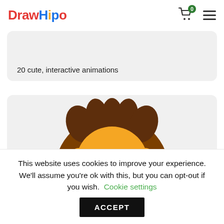DrawHipo
20 cute, interactive animations
[Figure (illustration): Cartoon lion illustration — brown mane with golden face, partially visible from below the card top]
This website uses cookies to improve your experience. We'll assume you're ok with this, but you can opt-out if you wish. Cookie settings ACCEPT